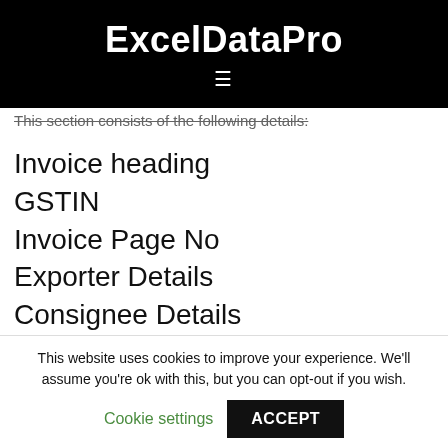ExcelDataPro
This section consists of the following details:
Invoice heading
GSTIN
Invoice Page No
Exporter Details
Consignee Details
Invoice No and Date
This website uses cookies to improve your experience. We'll assume you're ok with this, but you can opt-out if you wish.
Cookie settings  ACCEPT